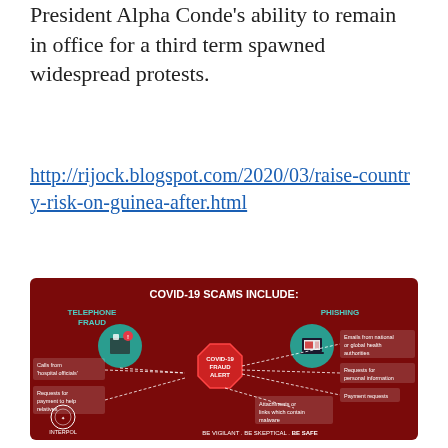President Alpha Conde's ability to remain in office for a third term spawned widespread protests.
http://rijock.blogspot.com/2020/03/raise-country-risk-on-guinea-after.html
[Figure (infographic): COVID-19 Scams Include infographic by INTERPOL. Dark red background. Title: COVID-19 SCAMS INCLUDE:. Left side: TELEPHONE FRAUD with teal circle icon (phone/building icon), boxes listing 'Calls from hospital officials' and 'Requests for payment to help relatives'. Center: red octagon shape with COVID-19 FRAUD ALERT text. Right side: PHISHING with teal circle icon (laptop icon), boxes listing 'Emails from national or global health authorities', 'Requests for personal information', 'Payment requests', 'Attachments or links which contain malware'. Bottom left: INTERPOL logo. Bottom right: BE VIGILANT . BE SKEPTICAL . BE SAFE]